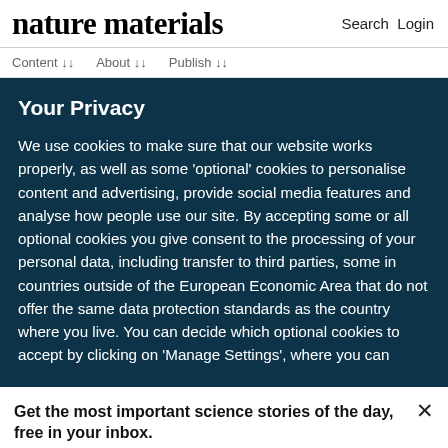nature materials  Search  Login
Your Privacy
We use cookies to make sure that our website works properly, as well as some 'optional' cookies to personalise content and advertising, provide social media features and analyse how people use our site. By accepting some or all optional cookies you give consent to the processing of your personal data, including transfer to third parties, some in countries outside of the European Economic Area that do not offer the same data protection standards as the country where you live. You can decide which optional cookies to accept by clicking on 'Manage Settings', where you can
Get the most important science stories of the day, free in your inbox.
Sign up for Nature Briefing